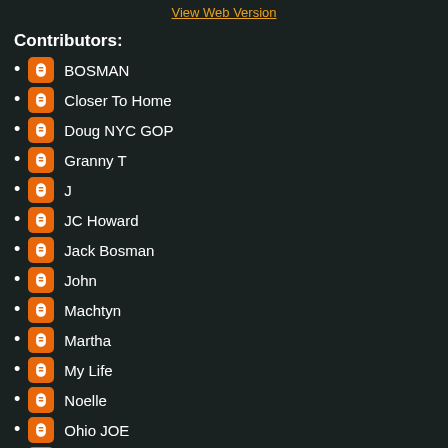View Web Version
Contributors:
BOSMAN
Closer To Home
Doug NYC GOP
Granny T
J
JC Howard
Jack Bosman
John
Machtyn
Martha
My Life
Noelle
Ohio JOE
Pu Aili
Publius Nemo